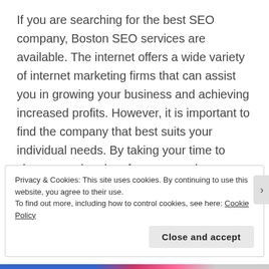If you are searching for the best SEO company, Boston SEO services are available. The internet offers a wide variety of internet marketing firms that can assist you in growing your business and achieving increased profits. However, it is important to find the company that best suits your individual needs. By taking your time to shop around and perform research on several different companies, you will be able to find the ideal SEO consultant for your business needs.
Advertisements
Privacy & Cookies: This site uses cookies. By continuing to use this website, you agree to their use.
To find out more, including how to control cookies, see here: Cookie Policy
Close and accept